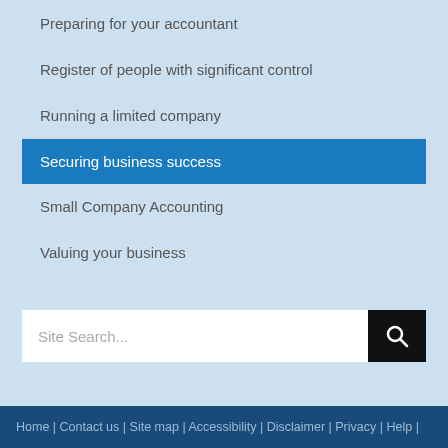Preparing for your accountant
Register of people with significant control
Running a limited company
Securing business success
Small Company Accounting
Valuing your business
Site Search...
Home | Contact us | Site map | Accessibility | Disclaimer | Privacy | Help |